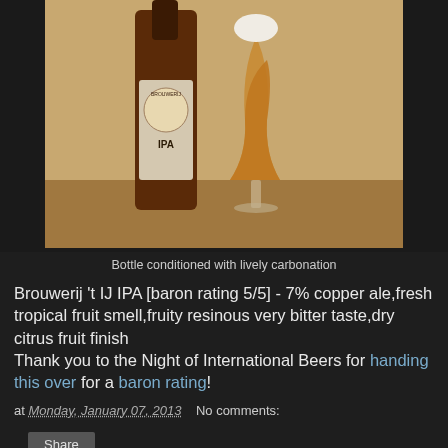[Figure (photo): A beer bottle labeled 'Brouwerij 't IJ IPA' next to a tulip glass filled with amber/copper colored beer with a frothy white head, on a wooden surface.]
Bottle conditioned with lively carbonation
Brouwerij 't IJ IPA [baron rating 5/5] - 7% copper ale,fresh tropical fruit smell,fruity resinous very bitter taste,dry citrus fruit finish
Thank you to the Night of International Beers for handing this over for a baron rating!
at Monday, January 07, 2013   No comments:
Share